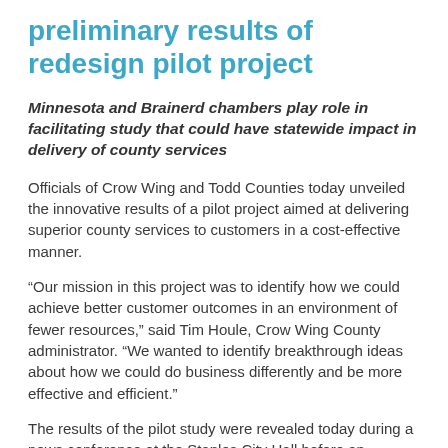preliminary results of redesign pilot project
Minnesota and Brainerd chambers play role in facilitating study that could have statewide impact in delivery of county services
Officials of Crow Wing and Todd Counties today unveiled the innovative results of a pilot project aimed at delivering superior county services to customers in a cost-effective manner.
“Our mission in this project was to identify how we could achieve better customer outcomes in an environment of fewer resources,” said Tim Houle, Crow Wing County administrator. “We wanted to identify breakthrough ideas about how we could do business differently and be more effective and efficient.”
The results of the pilot study were revealed today during a news conference at the Staples City Hall before an audience